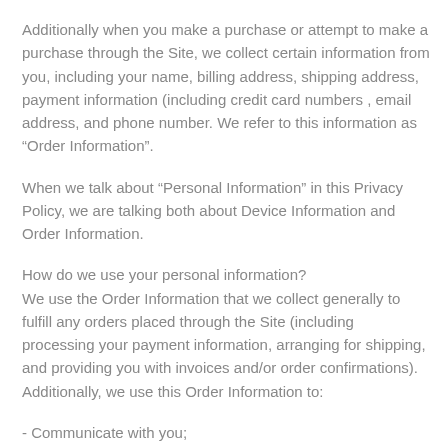Additionally when you make a purchase or attempt to make a purchase through the Site, we collect certain information from you, including your name, billing address, shipping address, payment information (including credit card numbers , email address, and phone number. We refer to this information as “Order Information”.
When we talk about “Personal Information” in this Privacy Policy, we are talking both about Device Information and Order Information.
How do we use your personal information?
We use the Order Information that we collect generally to fulfill any orders placed through the Site (including processing your payment information, arranging for shipping, and providing you with invoices and/or order confirmations). Additionally, we use this Order Information to:
- Communicate with you;